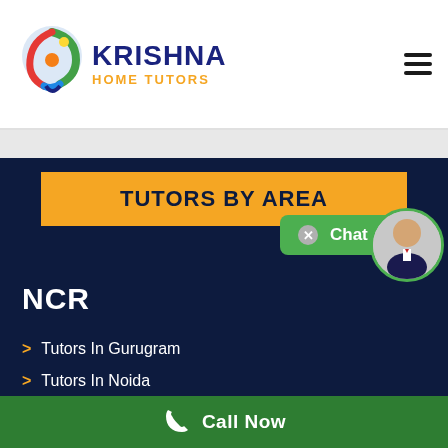[Figure (logo): Krishna Home Tutors logo with multicolor peacock/circular icon and bold text]
TUTORS BY AREA
NCR
Tutors In Gurugram
Tutors In Noida
Tutors In Ghaziabad
Chat now
Call Now